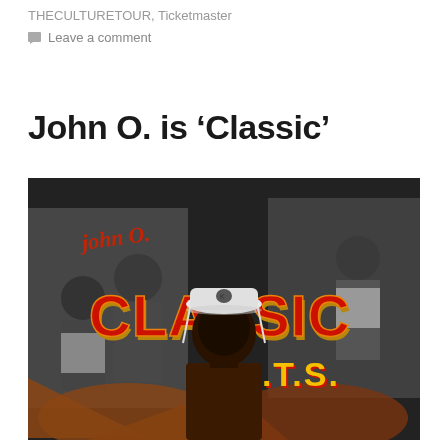THECULTURETOUR, Ticketmaster
Leave a comment
John O. is 'Classic'
[Figure (photo): Album cover for John O. 'Classic' J.T.S. — a mixed black-and-white and color graphic showing the text 'JOHN O.' in red cursive at top, 'CLASSIC' in large red and orange retro lettering in the center, 'J.T.S.' below in yellow with red outline. A man wearing a white bucket hat is centered in the lower portion. Black-and-white photos of people are visible on the left and right sides of the image background.]